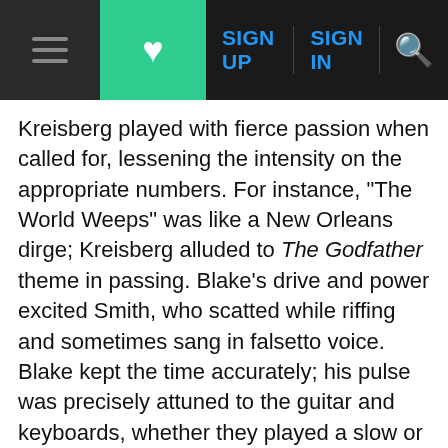≡ ♥ SIGN UP  SIGN IN  🔍
Kreisberg played with fierce passion when called for, lessening the intensity on the appropriate numbers. For instance, "The World Weeps" was like a New Orleans dirge; Kreisberg alluded to The Godfather theme in passing. Blake's drive and power excited Smith, who scatted while riffing and sometimes sang in falsetto voice. Blake kept the time accurately; his pulse was precisely attuned to the guitar and keyboards, whether they played a slow or medium blues, a shuffle or Bossa groove, a rock style akin to the group Journey, Mahavishnu Orchestra-like fusion, or straight-ahead swing.
A thoroughly enjoyable set was enriched further by Smith's dramatic flair and sleight-of-hand expressions. When a group such as Smith's organ trio glides from